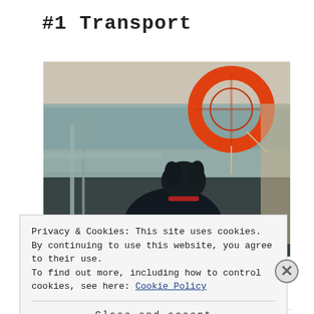#1 Transport
[Figure (photo): A dog standing on the deck of a ferry or ship, looking out at the ocean, with a life preserver ring visible in the upper right. The image has a cool, desaturated teal/vintage tone. Metal railings are visible.]
Privacy & Cookies: This site uses cookies. By continuing to use this website, you agree to their use.
To find out more, including how to control cookies, see here: Cookie Policy
Close and accept